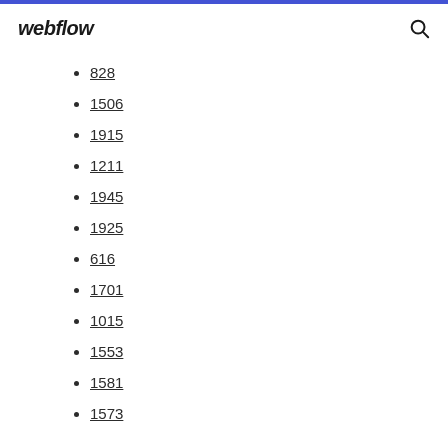webflow
828
1506
1915
1211
1945
1925
616
1701
1015
1553
1581
1573